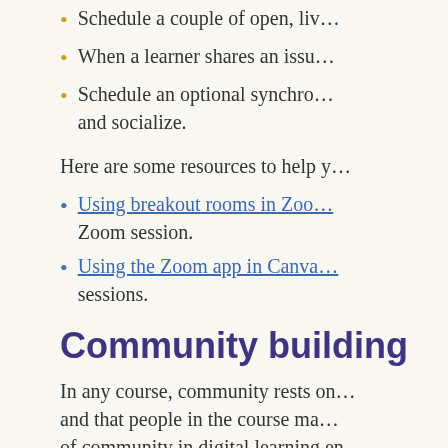Schedule a couple of open, liv…
When a learner shares an issu…
Schedule an optional synchron… and socialize.
Here are some resources to help y…
Using breakout rooms in Zoo… Zoom session.
Using the Zoom app in Canva… sessions.
Community building
In any course, community rests on… and that people in the course ma… of community in digital learning en…
Manifesting instructor presen… in learners' success is key to f…
Netiquette guidelines - Settir…